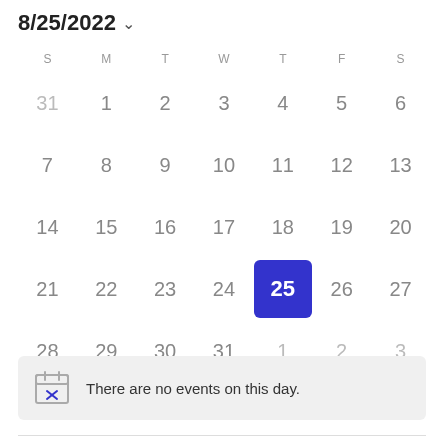8/25/2022
[Figure (other): Monthly calendar for August 2022 showing dates from July 31 to September 3, with August 25 highlighted in blue as the selected date. Days of week headers: S M T W T F S. Rows: 31 1 2 3 4 5 6 / 7 8 9 10 11 12 13 / 14 15 16 17 18 19 20 / 21 22 23 24 25 26 27 / 28 29 30 31 1 2 3]
There are no events on this day.